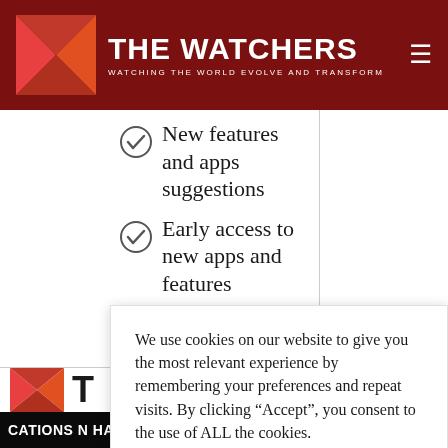THE WATCHERS — WATCHING THE WORLD EVOLVE AND TRANSFORM
New features and apps suggestions
Early access to new apps and features
Get started
$5
We use cookies on our website to give you the most relevant experience by remembering your preferences and repeat visits. By clicking “Accept”, you consent to the use of ALL the cookies.
Do not sell my personal information.
Cookie settings
Accept
CATIONS N HALF OF TAʿU VOLCANO-CONSTANT SOURCE POSI